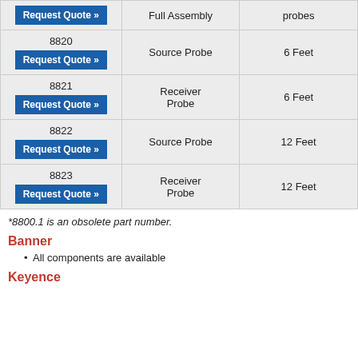| Part Number | Description | Length |
| --- | --- | --- |
|  | Full Assembly | probes |
| 8820
Request Quote » | Source Probe | 6 Feet |
| 8821
Request Quote » | Receiver Probe | 6 Feet |
| 8822
Request Quote » | Source Probe | 12 Feet |
| 8823
Request Quote » | Receiver Probe | 12 Feet |
*8800.1 is an obsolete part number.
Banner
All components are available
Keyence